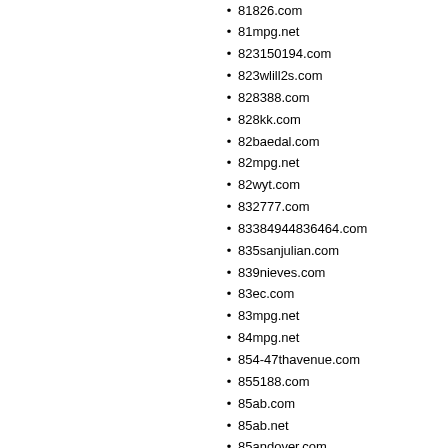81826.com
81mpg.net
823150194.com
823wlill2s.com
828388.com
828kk.com
82baedal.com
82mpg.net
82wyt.com
832777.com
83384944836464.com
835sanjulian.com
839nieves.com
83ec.com
83mpg.net
84mpg.net
854-47thavenue.com
855188.com
85ab.com
85ab.net
85andover.com
85mail.com
85mpg.net
85ns.com
862233.com
86337266787828466.com
863center.com
86bsw.com